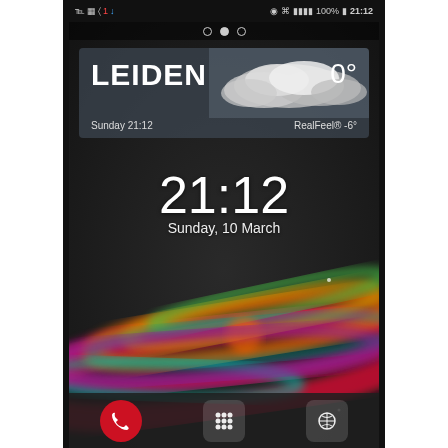[Figure (screenshot): Android smartphone home screen (Sony Xperia) showing status bar with icons and time 21:12, page navigation dots, AccuWeather widget for Leiden showing 0° and RealFeel® -6° on Sunday 21:12 with cloudy background, digital clock showing 21:12, date Sunday 10 March, colorful abstract Xperia wallpaper with red/orange/green/pink light streaks, and bottom dock bar with app icons.]